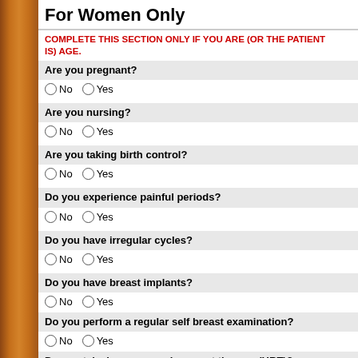For Women Only
COMPLETE THIS SECTION ONLY IF YOU ARE (OR THE PATIENT IS) AGE.
Are you pregnant?
No  Yes
Are you nursing?
No  Yes
Are you taking birth control?
No  Yes
Do you experience painful periods?
No  Yes
Do you have irregular cycles?
No  Yes
Do you have breast implants?
No  Yes
Do you perform a regular self breast examination?
No  Yes
Do you take hormone replacement therapy (HRT)?